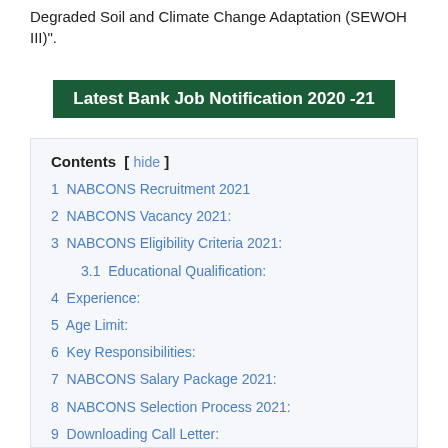Degraded Soil and Climate Change Adaptation (SEWOH III)".
Latest Bank Job Notification 2020 -21
1 NABCONS Recruitment 2021
2 NABCONS Vacancy 2021:
3 NABCONS Eligibility Criteria 2021:
3.1 Educational Qualification:
4 Experience:
5 Age Limit:
6 Key Responsibilities:
7 NABCONS Salary Package 2021:
8 NABCONS Selection Process 2021:
9 Downloading Call Letter:
10 Interview Date & Time: